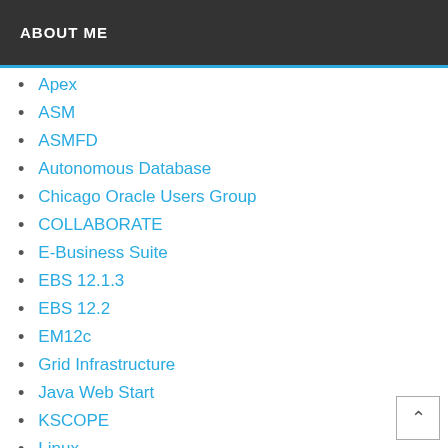ABOUT ME
Apex
ASM
ASMFD
Autonomous Database
Chicago Oracle Users Group
COLLABORATE
E-Business Suite
EBS 12.1.3
EBS 12.2
EM12c
Grid Infrastructure
Java Web Start
KSCOPE
Linux
MWA